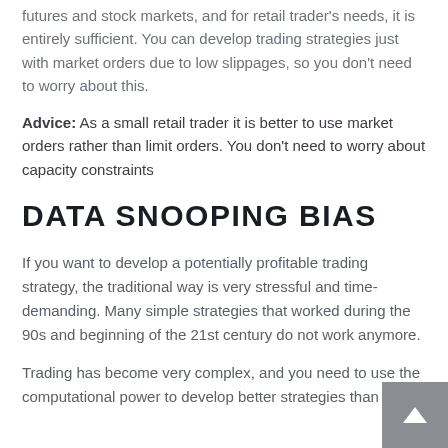futures and stock markets, and for retail trader's needs, it is entirely sufficient. You can develop trading strategies just with market orders due to low slippages, so you don't need to worry about this.
Advice: As a small retail trader it is better to use market orders rather than limit orders. You don't need to worry about capacity constraints
DATA SNOOPING BIAS
If you want to develop a potentially profitable trading strategy, the traditional way is very stressful and time-demanding. Many simple strategies that worked during the 90s and beginning of the 21st century do not work anymore.
Trading has become very complex, and you need to use the computational power to develop better strategies than